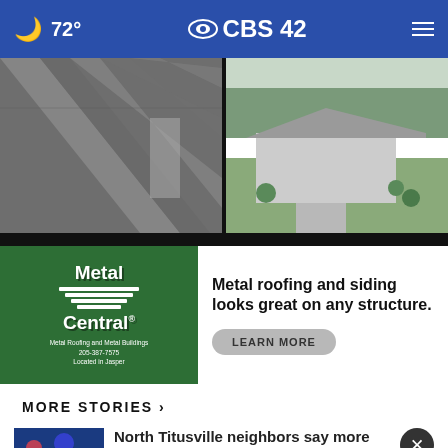72° CBS42
[Figure (photo): Two photos of metal roofing: left shows close-up of corrugated metal roof panels on a structure, right shows aerial/wide view of a house with metal roof and landscaping]
[Figure (infographic): Metal Central advertisement banner: green logo box on left with Metal Central logo and tagline 'Metal Roofing and Metal Buildings 205-387-7575 Located in Jasper'. Right side reads 'Metal roofing and siding looks great on any structure.' with a LEARN MORE button]
MORE STORIES ›
North Titusville neighbors say more
[Figure (infographic): Overlay advertisement: Metal Central green logo on left, center text 'You'll be proud to use of your new metal roof!' with LEARN MORE button, right side shows aerial photo of house with red metal roof]
2 arrested in connection to Parrish